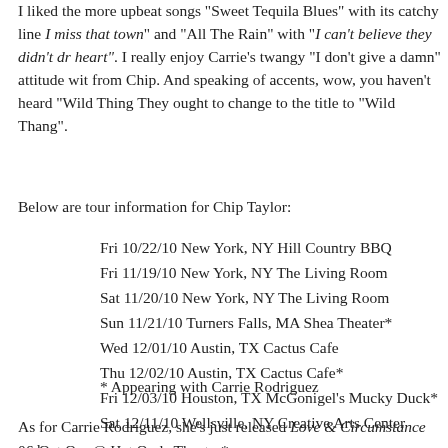I liked the more upbeat songs "Sweet Tequila Blues" with its catchy line I miss that town and "All The Rain" with "I can't believe they didn't dr heart". I really enjoy Carrie's twangy "I don't give a damn" attitude wit from Chip. And speaking of accents, wow, you haven't heard "Wild Thing They ought to change to the title to "Wild Thang".
Below are tour information for Chip Taylor:
Fri 10/22/10 New York, NY Hill Country BBQ
Fri 11/19/10 New York, NY The Living Room
Sat 11/20/10 New York, NY The Living Room
Sun 11/21/10 Turners Falls, MA Shea Theater*
Wed 12/01/10 Austin, TX Cactus Cafe
Thu 12/02/10 Austin, TX Cactus Cafe*
Fri 12/03/10 Houston, TX McGonigel's Mucky Duck*
Sat 12/11/10 Wellsville, NY Creative Arts Center
* Appearing with Carrie Rodriguez
As for Carrie Rodriguez, she's just released Love & Circumstance and curr
06-Oct Oss @ Het Oude Theater*